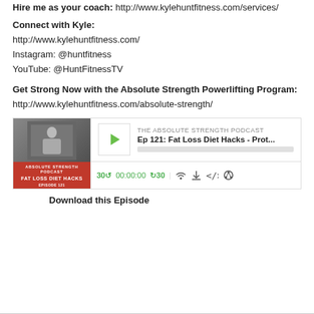Hire me as your coach: http://www.kylehuntfitness.com/services/
Connect with Kyle:
http://www.kylehuntfitness.com/
Instagram: @huntfitness
YouTube: @HuntFitnessTV
Get Strong Now with the Absolute Strength Powerlifting Program:
http://www.kylehuntfitness.com/absolute-strength/
[Figure (screenshot): Audio player widget for 'The Absolute Strength Podcast' episode 121: Fat Loss Diet Hacks - Prot... with play button, progress bar, and controls showing 30 back, 00:00:00, 30 forward, and icons.]
Download this Episode